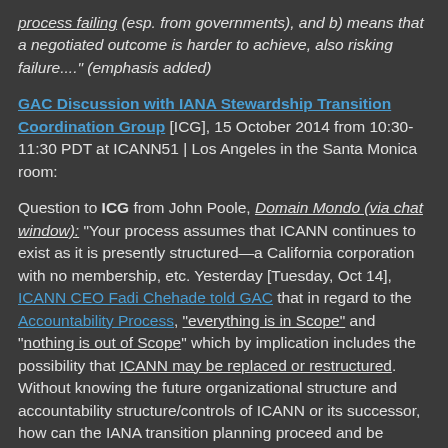process failing (esp. from governments), and b) means that a negotiated outcome is harder to achieve, also risking failure...." (emphasis added)
GAC Discussion with IANA Stewardship Transition Coordination Group [ICG], 15 October 2014 from 10:30-11:30 PDT at ICANN51 | Los Angeles in the Santa Monica room:
Question to ICG from John Poole, Domain Mondo (via chat window): "Your process assumes that ICANN continues to exist as it is presently structured—a California corporation with no membership, etc. Yesterday [Tuesday, Oct 14], ICANN CEO Fadi Chehade told GAC that in regard to the Accountability Process, "everything is in Scope" and "nothing is out of Scope" which by implication includes the possibility that ICANN may be replaced or restructured. Without knowing the future organizational structure and accountability structure/controls of ICANN or its successor, how can the IANA transition planning proceed and be expected to produce a competent and relevant proposal for Stewardship of the IANA Functions unless your Proposal